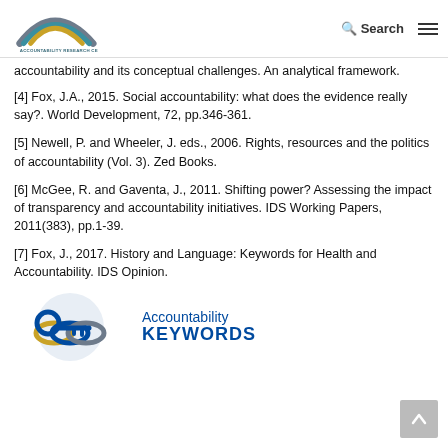Accountability Research Center — Search (nav)
accountability and its conceptual challenges. An analytical framework.
[4] Fox, J.A., 2015. Social accountability: what does the evidence really say?. World Development, 72, pp.346-361.
[5] Newell, P. and Wheeler, J. eds., 2006. Rights, resources and the politics of accountability (Vol. 3). Zed Books.
[6] McGee, R. and Gaventa, J., 2011. Shifting power? Assessing the impact of transparency and accountability initiatives. IDS Working Papers, 2011(383), pp.1-39.
[7] Fox, J., 2017. History and Language: Keywords for Health and Accountability. IDS Opinion.
[Figure (logo): Accountability Keywords logo with a key icon in blue, yellow and grey, and text 'Accountability KEYWORDS']